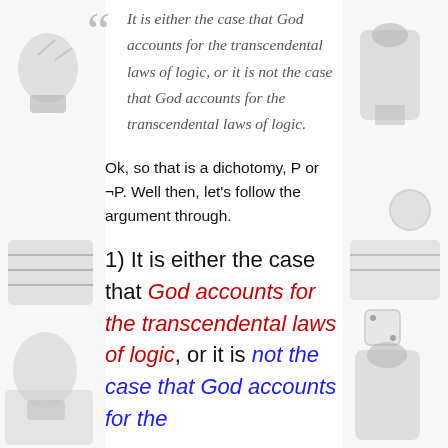It is either the case that God accounts for the transcendental laws of logic, or it is not the case that God accounts for the transcendental laws of logic.
Ok, so that is a dichotomy, P or ¬P. Well then, let's follow the argument through.
1) It is either the case that God accounts for the transcendental laws of logic, or it is not the case that God accounts for the